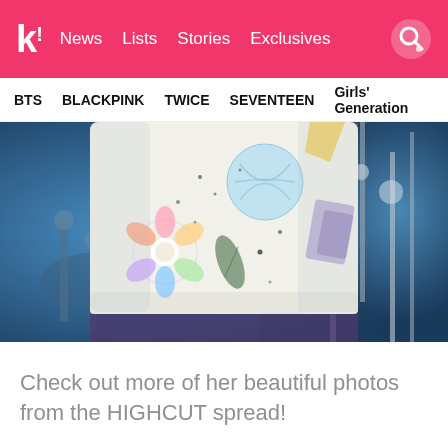k! News  Lists  Stories  Exclusives
BTS  BLACKPINK  TWICE  SEVENTEEN  Girls' Generation
[Figure (photo): Close-up photo of a performer on stage wearing a white sweatshirt/crop top with colorful painted designs including flowers, a blue circle, and abstract shapes. The background shows stage equipment with blue lighting.]
Check out more of her beautiful photos from the HIGHCUT spread!